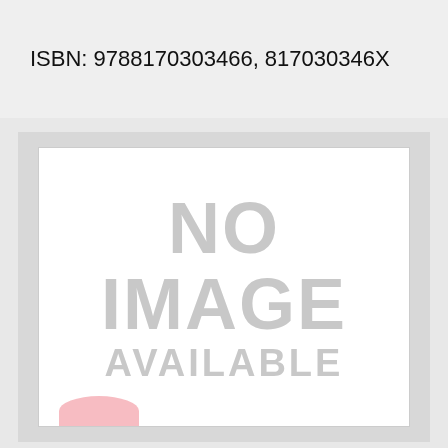ISBN: 9788170303466, 817030346X
[Figure (other): Placeholder image panel showing 'NO IMAGE AVAILABLE' text in large gray letters on a white background with a light gray surround]